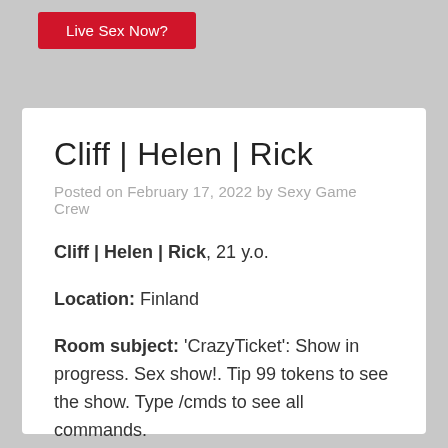[Figure (other): Red button labeled 'Live Sex Now?' partially visible at top of page]
Cliff | Helen | Rick
Posted on February 17, 2022 by Sexy Game Crew
Cliff | Helen | Rick, 21 y.o.
Location: Finland
Room subject: 'CrazyTicket': Show in progress. Sex show!. Tip 99 tokens to see the show. Type /cmds to see all commands.
[Figure (other): Red button labeled 'Live Sex Now?']